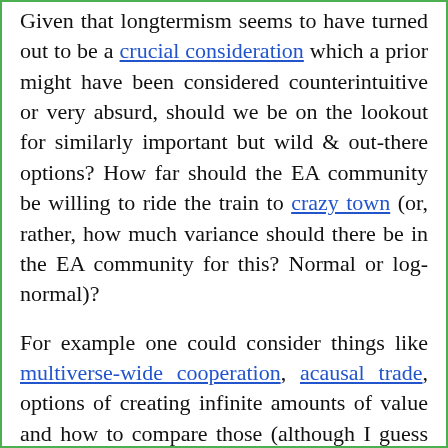Given that longtermism seems to have turned out to be a crucial consideration which a prior might have been considered counterintuitive or very absurd, should we be on the lookout for similarly important but wild & out-there options? How far should the EA community be willing to ride the train to crazy town (or, rather, how much variance should there be in the EA community for this? Normal or log-normal)?

For example one could consider things like multiverse-wide cooperation, acausal trade, options of creating infinite amounts of value and how to compare those (although I guess this is already been thought about in the area of infinite ethics, and try to actively search for them & figure out their implications (which doesn't appear to have much prominence in EA at the moment). (Other examples listed here)